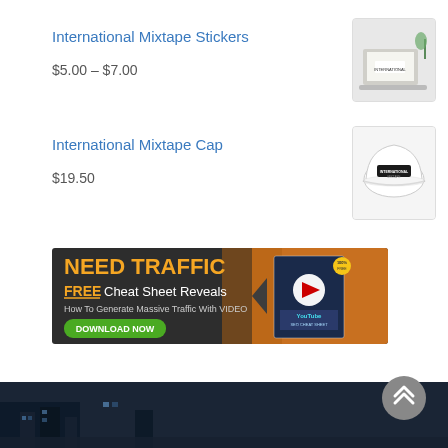International Mixtape Stickers
$5.00 – $7.00
[Figure (photo): Product image of International Mixtape Stickers on a laptop]
International Mixtape Cap
$19.50
[Figure (photo): Product image of International Mixtape white cap]
[Figure (infographic): Ad banner: NEED TRAFFIC - FREE Cheat Sheet Reveals How To Generate Massive Traffic With VIDEO. DOWNLOAD NOW button. Shows a YouTube SEO Cheat Sheet book.]
[Figure (photo): Dark footer image with city/urban scene]
[Figure (other): Scroll to top button (chevron up arrows in grey circle)]